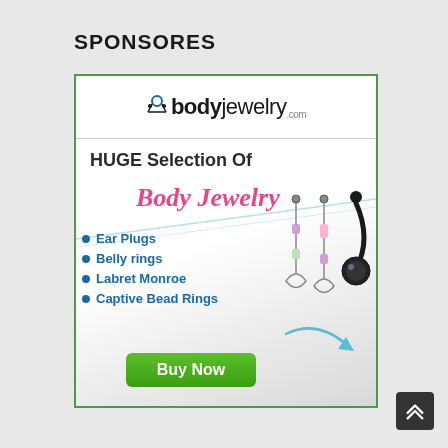SPONSORES
[Figure (illustration): Advertisement for bodyjewelry.com showing logo, text 'HUGE Selection Of Body Jewelry', bullet list with Ear Plugs, Belly rings, Labret Monroe, Captive Bead Rings, jewelry images, and a green Buy Now button]